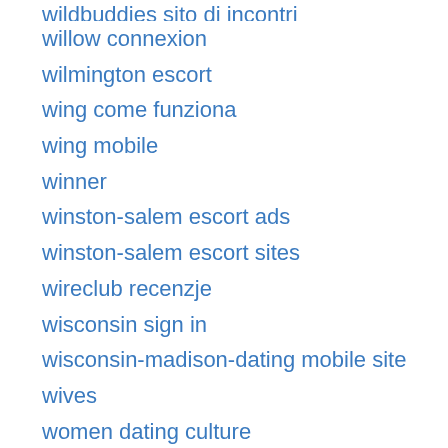wildbuddies sito di incontri
willow connexion
wilmington escort
wing come funziona
wing mobile
winner
winston-salem escort ads
winston-salem escort sites
wireclub recenzje
wisconsin sign in
wisconsin-madison-dating mobile site
wives
women dating culture
Women From Ukraine
Women's Choice Dating username